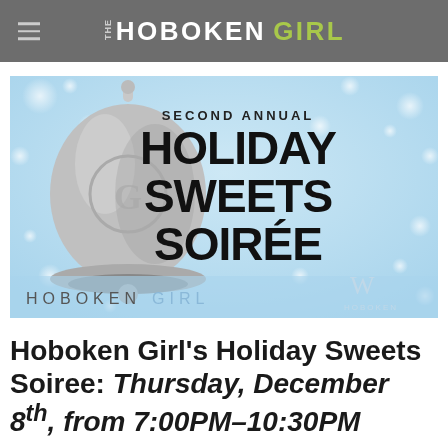THE HOBOKEN GIRL
[Figure (illustration): Event promotional image for Second Annual Holiday Sweets Soirée featuring a silver bell ornament on a light blue bokeh background, with text 'SECOND ANNUAL HOLIDAY SWEETS SOIRÉE', 'HOBOKEN GIRL' and 'W HOBOKEN' logo]
Hoboken Girl's Holiday Sweets Soiree: Thursday, December 8th, from 7:00PM–10:30PM